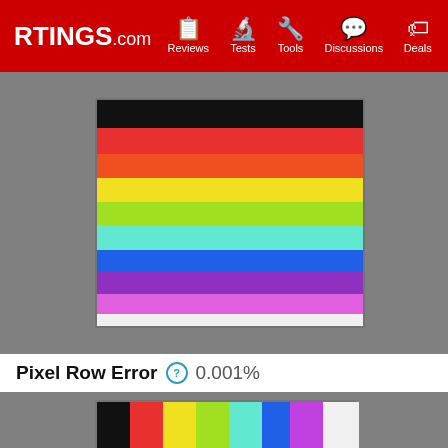RTINGS.com — Reviews, Tests, Tools, Discussions, Deals
[Figure (photo): Horizontal color stripes test pattern on grey background: black, red, orange-red, yellow, yellow-green, cyan/turquoise, blue, purple/violet, magenta, white/light grey]
Pixel Row Error  0.001%
[Figure (photo): Vertical color stripes test pattern on grey background: black, red, yellow, yellow-green, cyan, blue, magenta/purple, white/light grey]